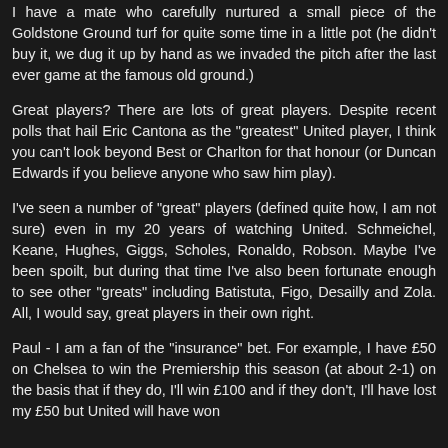I have a mate who carefully nurtured a small piece of the Goldstone Ground turf for quite some time in a little pot (he didn't buy it, we dug it up by hand as we invaded the pitch after the last ever game at the famous old ground.)
Great players? There are lots of great players. Despite recent polls that hail Eric Cantona as the "greatest" United player, I think you can't look beyond Best or Charlton for that honour (or Duncan Edwards if you believe anyone who saw him play).
I've seen a number of "great" players (defined quite how, I am not sure) even in my 20 years of watching United. Schmeichel, Keane, Hughes, Giggs, Scholes, Ronaldo, Robson. Maybe I've been spoilt, but during that time I've also been fortunate enough to see other "greats" including Batistuta, Figo, Desailly and Zola. All, I would say, great players in their own right.
Paul - I am a fan of the "insurance" bet. For example, I have £50 on Chelsea to win the Premiership this season (at about 2-1) on the basis that if they do, I'll win £100 and if they don't, I'll have lost my £50 but United will have won